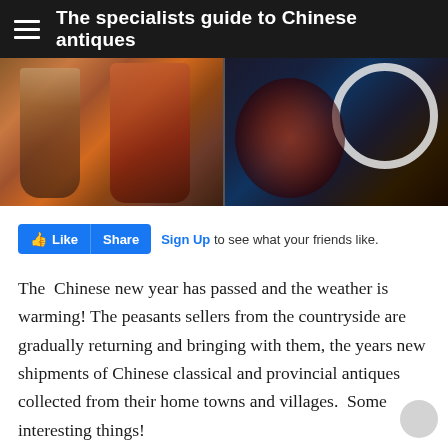The specialists guide to Chinese antiques
[Figure (photo): Two-panel photograph showing close-up details of aged Chinese artwork/antiques. Left panel shows brownish-red figures with worn paint depicting robed figures and feet. Right panel shows dark navy/black background with decorative red floral motifs and a white circular crescent shape.]
Sign Up to see what your friends like.
The  Chinese new year has passed and the weather is warming! The peasants sellers from the countryside are gradually returning and bringing with them, the years new shipments of Chinese classical and provincial antiques collected from their home towns and villages.  Some interesting things!